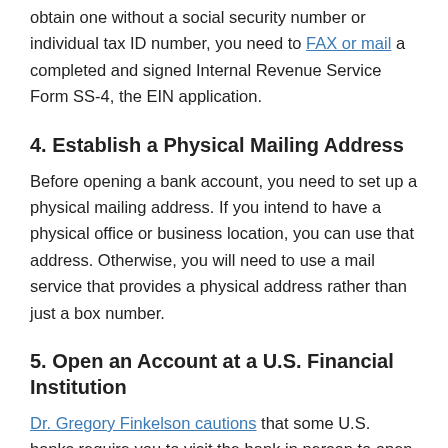obtain one without a social security number or individual tax ID number, you need to FAX or mail a completed and signed Internal Revenue Service Form SS-4, the EIN application.
4. Establish a Physical Mailing Address
Before opening a bank account, you need to set up a physical mailing address. If you intend to have a physical office or business location, you can use that address. Otherwise, you will need to use a mail service that provides a physical address rather than just a box number.
5. Open an Account at a U.S. Financial Institution
Dr. Gregory Finkelson cautions that some U.S. banks require you to visit the bank in person to open a business banking account. However, many banks now allow you to complete the process online, as long as you have the required documents.